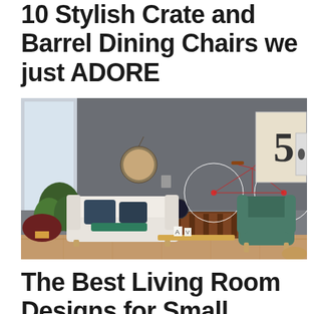10 Stylish Crate and Barrel Dining Chairs we just ADORE
[Figure (photo): Modern living room interior with a white sofa, green barrel chair, wooden sideboard, a red bicycle mounted on a grey wall, round mirror, globe, plants, and decorative items on a wooden coffee table.]
The Best Living Room Designs for Small Spaces on